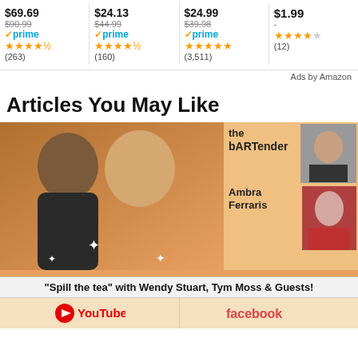[Figure (screenshot): Amazon product cards showing prices, Prime badges, star ratings, and review counts. Four products: $69.69 (was $90.99), $24.13 (was $44.99), $24.99 (was $39.98), $1.99. Star ratings and review counts (263), (160), (3,511), (12).]
Ads by Amazon
Articles You May Like
[Figure (photo): Promotional image for 'the bARTender' show featuring Wendy Stuart, Tym Moss and Guests, with Ambra Ferraris. Shows two people smiling in foreground, small portraits on right side, orange/tan background with text overlay. Bottom shows 'Spill the tea' with Wendy Stuart, Tym Moss & Guests! and YouTube/Facebook logos.]